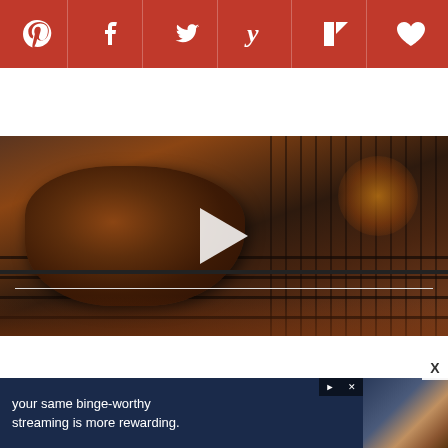[Figure (other): Social media sharing toolbar with icons for Pinterest, Facebook, Twitter, Yummly, Flipboard, and a heart/save button on a dark red background]
[Figure (photo): Video thumbnail showing a grilled steak on a barbecue grill with a play button overlay, dark moody lighting with fire glow in background]
[Figure (other): SHE Media Partner Network advertisement banner on teal background: 'WE HELP CONTENT CREATORS GROW BUSINESSES THROUGH...' with LEARN MORE button]
HUNGRY FOR MORE?
[Figure (photo): Bottom strip showing food photo thumbnails partially visible]
[Figure (other): Bottom advertisement overlay: 'your same binge-worthy streaming is more rewarding.' with a couple watching TV image]